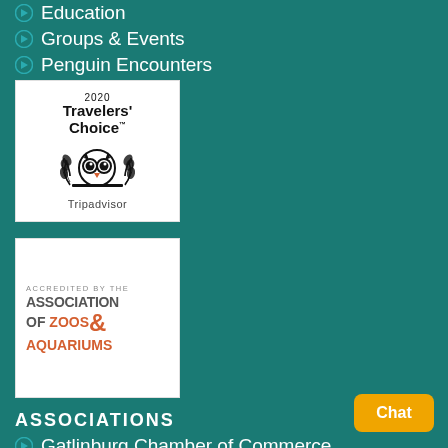Education
Groups & Events
Penguin Encounters
[Figure (logo): 2020 Travelers' Choice Tripadvisor award badge with owl logo on white background]
[Figure (logo): Accredited by the Association of Zoos & Aquariums badge on white background]
ASSOCIATIONS
Gatlinburg Chamber of Commerce
Gatlinburg Attractions Association